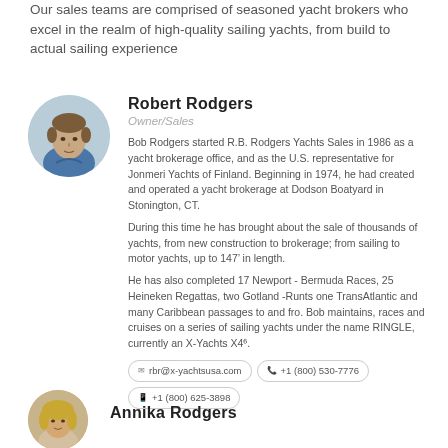Our sales teams are comprised of seasoned yacht brokers who excel in the realm of high-quality sailing yachts, from build to actual sailing experience
[Figure (photo): Circular headshot photo of Robert Rodgers, a middle-aged man with brown hair wearing a blue sweater]
Robert Rodgers
Owner/Sales
Bob Rodgers started R.B. Rodgers Yachts Sales in 1986 as a yacht brokerage office, and as the U.S. representative for Jonmeri Yachts of Finland. Beginning in 1974, he had created and operated a yacht brokerage at Dodson Boatyard in Stonington, CT.
During this time he has brought about the sale of thousands of yachts, from new construction to brokerage; from sailing to motor yachts, up to 147’ in length.
He has also completed 17 Newport - Bermuda Races, 25 Heineken Regattas, two Gotland -Runts one TransAtlantic and many Caribbean passages to and fro. Bob maintains, races and cruises on a series of sailing yachts under the name RINGLE, currently an X-Yachts X4⁶.
rbr@x-yachtsusa.com
+1 (800) 530-7776
+1 (800) 625-3898
[Figure (photo): Circular headshot photo of Annika Rodgers, a woman with blonde hair]
Annika Rodgers